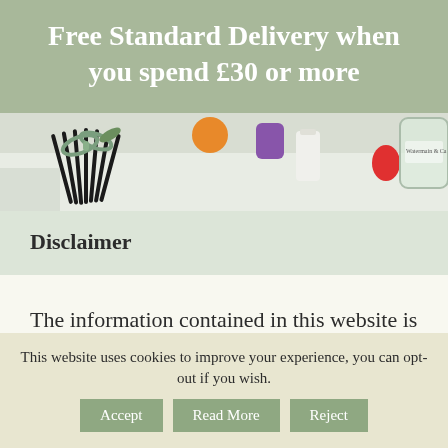Free Standard Delivery when you spend £30 or more
[Figure (photo): Photo of candles, vanilla sticks with green ribbon, colorful wax figures and a glass jar with label on a table]
Disclaimer
The information contained in this website is for general information
This website uses cookies to improve your experience, you can opt-out if you wish.
Accept  Read More  Reject